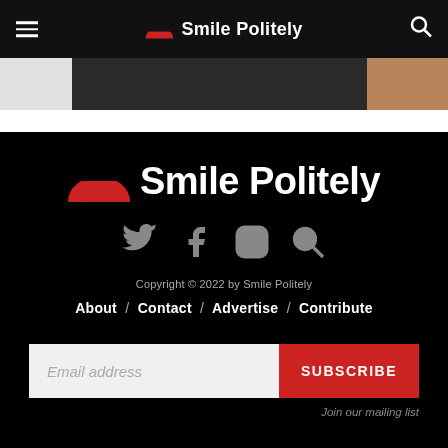Smile Politely
[Figure (screenshot): Partial hero image showing dark/brown photograph cropped at top]
[Figure (logo): Smile Politely logo — red half-circle smile icon with white 'Smile Politely' text on black background]
[Figure (infographic): Social media icons row: Twitter bird, Facebook f, Instagram camera, and search magnifying glass — all in grey on black background]
Copyright © 2022 by Smile Politely
About / Contact / Advertise / Contribute
Email address
SUBSCRIBE
Join our mailing list